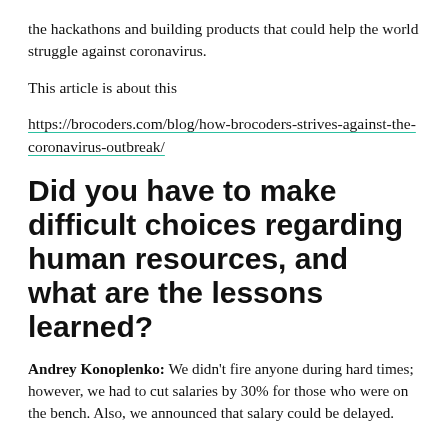the hackathons and building products that could help the world struggle against coronavirus.
This article is about this
https://brocoders.com/blog/how-brocoders-strives-against-the-coronavirus-outbreak/
Did you have to make difficult choices regarding human resources, and what are the lessons learned?
Andrey Konoplenko: We didn’t fire anyone during hard times; however, we had to cut salaries by 30% for those who were on the bench. Also, we announced that salary could be delayed.